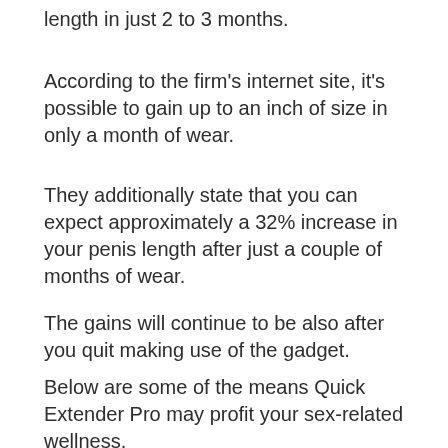length in just 2 to 3 months.
According to the firm's internet site, it's possible to gain up to an inch of size in only a month of wear.
They additionally state that you can expect approximately a 32% increase in your penis length after just a couple of months of wear.
The gains will continue to be also after you quit making use of the gadget.
Below are some of the means Quick Extender Pro may profit your sex-related wellness.
Increased erection size.